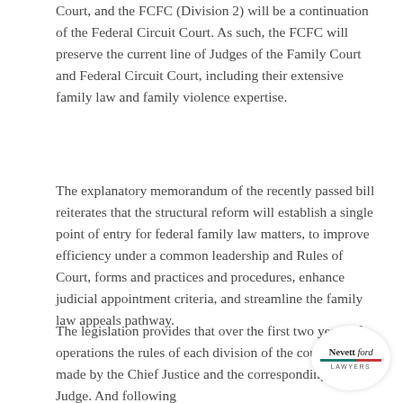Court, and the FCFC (Division 2) will be a continuation of the Federal Circuit Court. As such, the FCFC will preserve the current line of Judges of the Family Court and Federal Circuit Court, including their extensive family law and family violence expertise.
The explanatory memorandum of the recently passed bill reiterates that the structural reform will establish a single point of entry for federal family law matters, to improve efficiency under a common leadership and Rules of Court, forms and practices and procedures, enhance judicial appointment criteria, and streamline the family law appeals pathway.
The legislation provides that over the first two years of operations the rules of each division of the court will be made by the Chief Justice and the corresponding Chief Judge. And following
[Figure (logo): Nevett Ford Lawyers circular logo with red and teal horizontal bar]